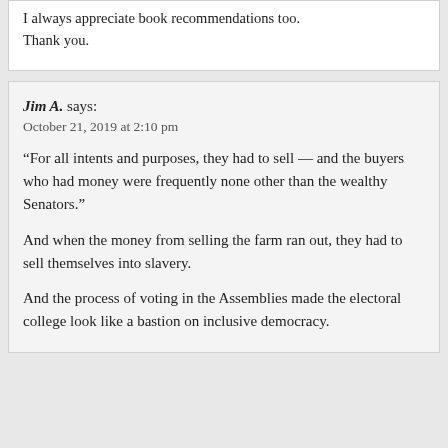I always appreciate book recommendations too. Thank you.
Jim A. says:
October 21, 2019 at 2:10 pm
“For all intents and purposes, they had to sell — and the buyers who had money were frequently none other than the wealthy Senators.”
And when the money from selling the farm ran out, they had to sell themselves into slavery.
And the process of voting in the Assemblies made the electoral college look like a bastion on inclusive democracy.